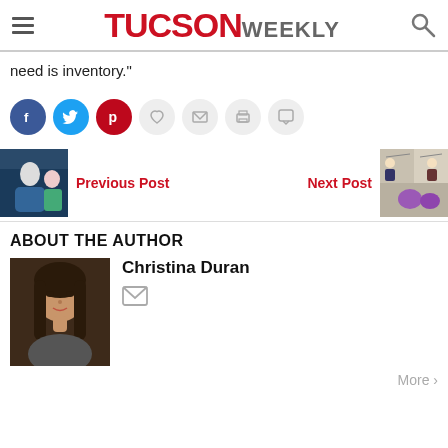TUCSON WEEKLY
need is inventory.”
[Figure (other): Social sharing buttons: Facebook, Twitter, Pinterest, Heart/Like, Email, Print, Comment]
[Figure (photo): Previous Post thumbnail showing a person getting a dental or medical procedure]
Previous Post
Next Post
[Figure (photo): Next Post thumbnail showing a comic strip illustration]
ABOUT THE AUTHOR
[Figure (photo): Author photo of Christina Duran, a young woman with long dark hair]
Christina Duran
[Figure (other): Email icon for author contact]
More ›